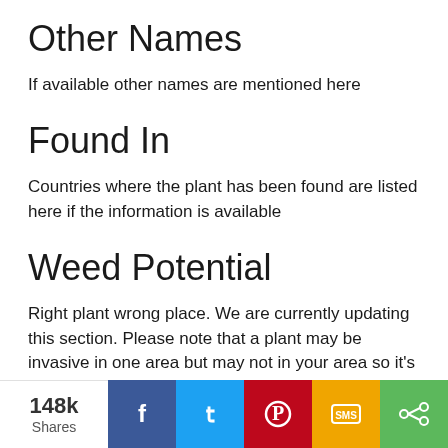Other Names
If available other names are mentioned here
Found In
Countries where the plant has been found are listed here if the information is available
Weed Potential
Right plant wrong place. We are currently updating this section. Please note that a plant may be invasive in one area but may not in your area so it's worth checking.
Conservation Status
IUCN Red List of Threatened Plants Status :
148k Shares  [Facebook] [Twitter] [Pinterest] [SMS] [Share]